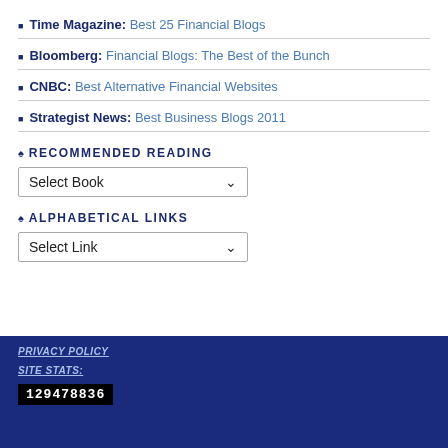Time Magazine: Best 25 Financial Blogs
Bloomberg: Financial Blogs: The Best of the Bunch
CNBC: Best Alternative Financial Websites
Strategist News: Best Business Blogs 2011
RECOMMENDED READING
Select Book
ALPHABETICAL LINKS
Select Link
PRIVACY POLICY
SITE STATS:
129478836